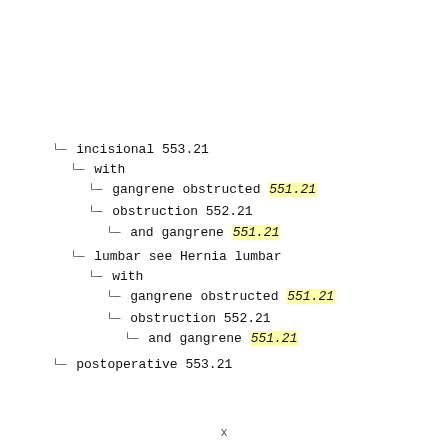incisional 553.21
with
gangrene obstructed 551.21
obstruction 552.21
and gangrene 551.21
lumbar see Hernia lumbar
with
gangrene obstructed 551.21
obstruction 552.21
and gangrene 551.21
postoperative 553.21
x